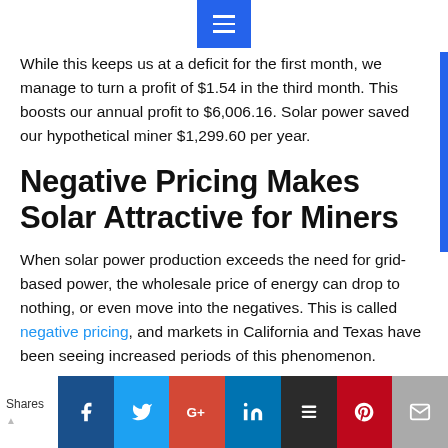☰
While this keeps us at a deficit for the first month, we manage to turn a profit of $1.54 in the third month. This boosts our annual profit to $6,006.16. Solar power saved our hypothetical miner $1,299.60 per year.
Negative Pricing Makes Solar Attractive for Miners
When solar power production exceeds the need for grid-based power, the wholesale price of energy can drop to nothing, or even move into the negatives. This is called negative pricing, and markets in California and Texas have been seeing increased periods of this phenomenon.
Shares | Facebook | Twitter | Google+ | LinkedIn | Buffer | Pinterest | Email